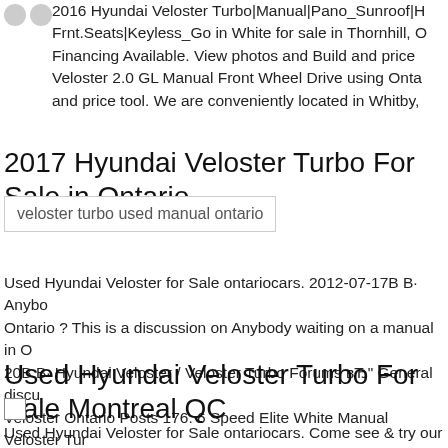2016 Hyundai Veloster Turbo|Manual|Pano_Sunroof|H Frnt.Seats|Keyless_Go in White for sale in Thornhill, O Financing Available. View photos and Build and price Veloster 2.0 GL Manual Front Wheel Drive using Onta and price tool. We are conveniently located in Whitby,
2017 Hyundai Veloster Turbo For Sale in Ontario
[Figure (photo): Image placeholder showing alt text: veloster turbo used manual ontario]
Used Hyundai Veloster for Sale ontariocars. 2012-07-17B B· Anybo Ontario ? This is a discussion on Anybody waiting on a manual in O 20B B· Hyundai Veloster / Veloster Turbo Forums вЂ" General disc Veloster Ontario Posts 176. 6 Speed Elite White Manual Veloster Tu
Used Hyundai Veloster Turbo For Sale Montreal QC
[Figure (other): Small checkbox/image placeholder square]
Used Hyundai Veloster for Sale ontariocars. Come see & try our Use